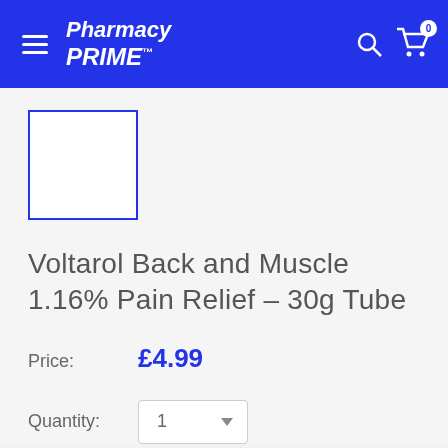Pharmacy PRIME™
[Figure (other): Product image placeholder — empty white square with blue border]
Voltarol Back and Muscle 1.16% Pain Relief – 30g Tube
Price: £4.99
Quantity: 1